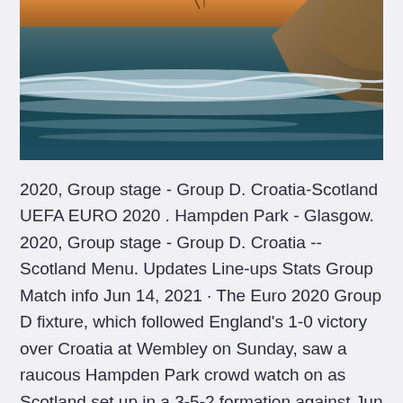[Figure (photo): Ocean waves with rocky cliff and warm sunset sky in background]
2020, Group stage - Group D. Croatia-Scotland UEFA EURO 2020 . Hampden Park - Glasgow. 2020, Group stage - Group D. Croatia --Scotland Menu. Updates Line-ups Stats Group Match info Jun 14, 2021 · The Euro 2020 Group D fixture, which followed England's 1-0 victory over Croatia at Wembley on Sunday, saw a raucous Hampden Park crowd watch on as Scotland set up in a 3-5-2 formation against Jun 06, 2021 · What channel is Scotland vs Croatia?